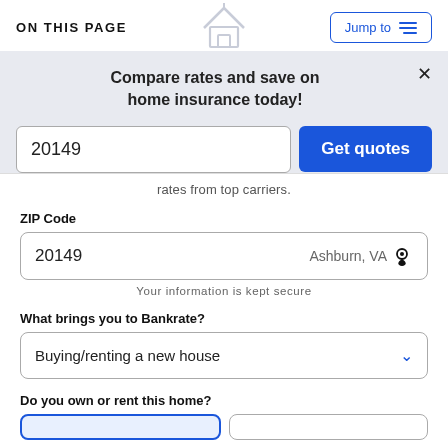ON THIS PAGE
Jump to
Compare rates and save on home insurance today!
20149
Get quotes
rates from top carriers.
ZIP Code
20149
Ashburn, VA
Your information is kept secure
What brings you to Bankrate?
Buying/renting a new house
Do you own or rent this home?